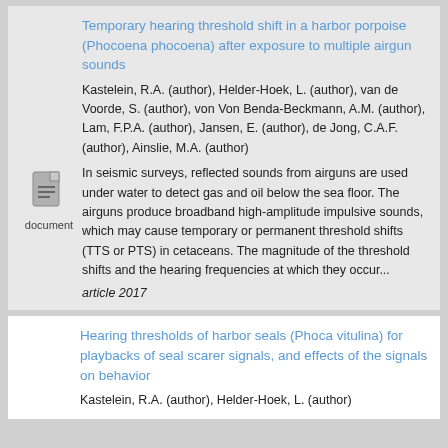Temporary hearing threshold shift in a harbor porpoise (Phocoena phocoena) after exposure to multiple airgun sounds
Kastelein, R.A. (author), Helder-Hoek, L. (author), van de Voorde, S. (author), von Von Benda-Beckmann, A.M. (author), Lam, F.P.A. (author), Jansen, E. (author), de Jong, C.A.F. (author), Ainslie, M.A. (author)
In seismic surveys, reflected sounds from airguns are used under water to detect gas and oil below the sea floor. The airguns produce broadband high-amplitude impulsive sounds, which may cause temporary or permanent threshold shifts (TTS or PTS) in cetaceans. The magnitude of the threshold shifts and the hearing frequencies at which they occur...
article 2017
[Figure (illustration): Document icon — a stylized page with lines of text, labeled 'document']
Hearing thresholds of harbor seals (Phoca vitulina) for playbacks of seal scarer signals, and effects of the signals on behavior
Kastelein, R.A. (author), Helder-Hoek, L. (author)